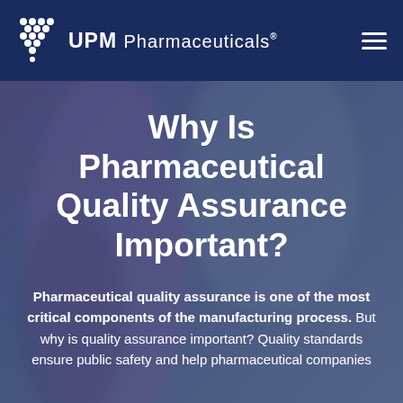UPM Pharmaceuticals
Why Is Pharmaceutical Quality Assurance Important?
Pharmaceutical quality assurance is one of the most critical components of the manufacturing process. But why is quality assurance important? Quality standards ensure public safety and help pharmaceutical companies